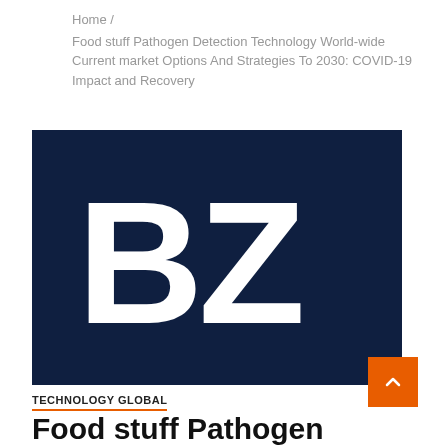Home / Food stuff Pathogen Detection Technology World-wide Current market Options And Strategies To 2030: COVID-19 Impact and Recovery
[Figure (logo): BZ logo — large white bold letters 'BZ' on a dark navy blue background]
TECHNOLOGY GLOBAL
Food stuff Pathogen